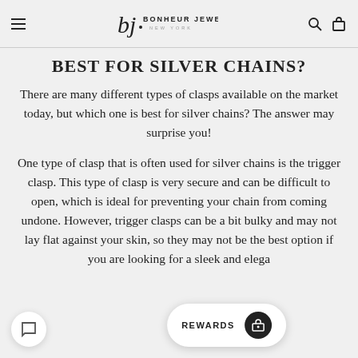Bonheur Jewelry New York
BEST FOR SILVER CHAINS?
There are many different types of clasps available on the market today, but which one is best for silver chains? The answer may surprise you!
One type of clasp that is often used for silver chains is the trigger clasp. This type of clasp is very secure and can be difficult to open, which is ideal for preventing your chain from coming undone. However, trigger clasps can be a bit bulky and may not lay flat against your skin, so they may not be the best option if you are looking for a sleek and elegant look.